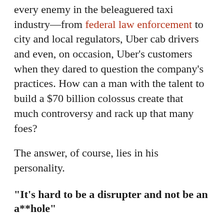every enemy in the beleaguered taxi industry—from federal law enforcement to city and local regulators, Uber cab drivers and even, on occasion, Uber's customers when they dared to question the company's practices. How can a man with the talent to build a $70 billion colossus create that much controversy and rack up that many foes?
The answer, of course, lies in his personality.
"It's hard to be a disrupter and not be an a**hole"
Innovating a big idea takes guts, resilience, and a fair amount of ruthlessness. Historically, founders who have been tough or even boorish have built some of the most successful businesses in Silicon Valley, which makes you wonder whether a jerkish